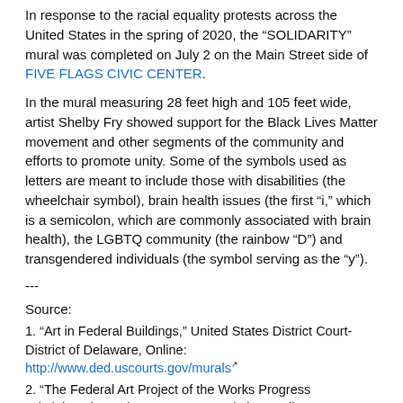In response to the racial equality protests across the United States in the spring of 2020, the “SOLIDARITY” mural was completed on July 2 on the Main Street side of FIVE FLAGS CIVIC CENTER.
In the mural measuring 28 feet high and 105 feet wide, artist Shelby Fry showed support for the Black Lives Matter movement and other segments of the community and efforts to promote unity. Some of the symbols used as letters are meant to include those with disabilities (the wheelchair symbol), brain health issues (the first “i,” which is a semicolon, which are commonly associated with brain health), the LGBTQ community (the rainbow “D”) and transgendered individuals (the symbol serving as the “y”).
---
Source:
1. “Art in Federal Buildings,” United States District Court-District of Delaware, Online: http://www.ded.uscourts.gov/murals
2. “The Federal Art Project of the Works Progress Administration,” The Art Story Foundation, Online: http://www.theartstory.org/org-wpa.htm
3. Kruse, Len, “Roosevelt's New Deal Brought an Artistic Touch to Post Office,” Telegraph Herald, November 24, 18983, p. 2
4. Ibid.
5. Discussion with Dr. Darryl Mozena 1/2/2017
6. New Murals of Old Dubuque,” Telegraph Herald, August 14, 1970, p. 8